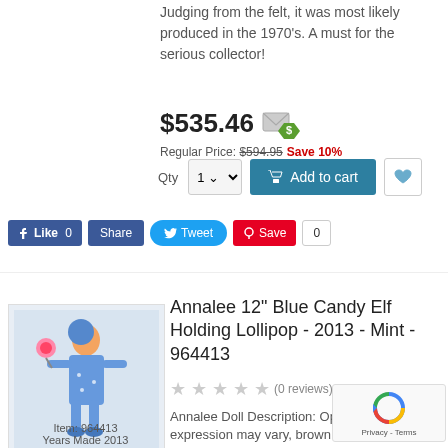Judging from the felt, it was most likely produced in the 1970's. A must for the serious collector!
$535.46
Regular Price: $594.95 Save 10%
Qty 1
Add to cart
Like 0   Share   Tweet   Save   0
[Figure (photo): Annalee 12" Blue Candy Elf Holding Lollipop doll product image]
Item: 964413
Years Made 2013
Annalee 12" Blue Candy Elf Holding Lollipop - 2013 - Mint - 964413
(0 reviews)
Annalee Doll Description: Open mouth expression may vary, brown hair